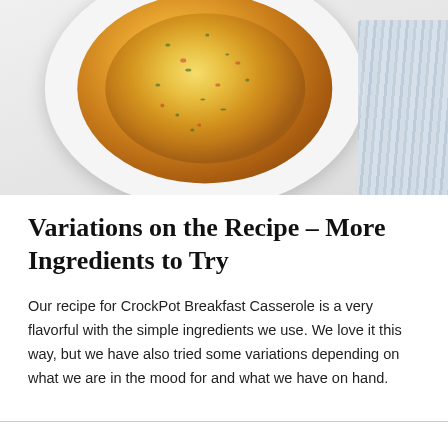[Figure (photo): A white ceramic casserole dish containing a golden-brown breakfast casserole topped with herbs and red pepper bits. A blue striped cloth is visible on the right side.]
Variations on the Recipe – More Ingredients to Try
Our recipe for CrockPot Breakfast Casserole is a very flavorful with the simple ingredients we use. We love it this way, but we have also tried some variations depending on what we are in the mood for and what we have on hand.